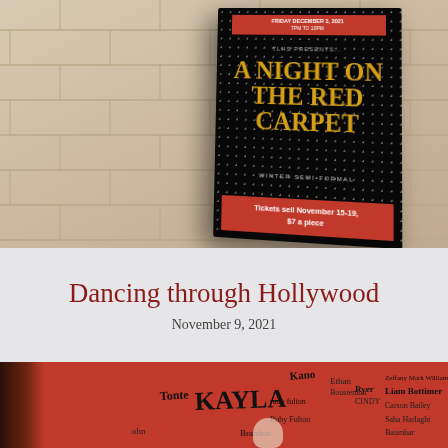[Figure (photo): Photo of a school hallway wall with a black semi-formal dance poster. The poster reads 'TLHS PRESENTS... A NIGHT ON THE RED CARPET WINTER SEMI-FORMAL' with gold text and 'Tickets sell November 15-19, $7 a piece' on a red banner.]
Dancing through Hollywood
November 9, 2021
[Figure (photo): Photo of a red poster or board with many black signatures and handwritten names on it. A hand is visible holding a marker. Names visible include Kano, Ethan, Boustemon, Kayla/Kay, Riley, Liam Bottimer, Carson Bailey, Brandon, and others.]